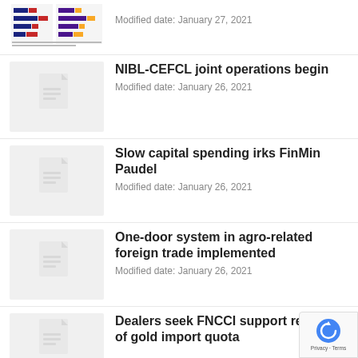[Figure (screenshot): Thumbnail showing a bar chart with colored bars (blue, dark blue, red, yellow) and small text, representing a financial data article thumbnail]
Modified date: January 27, 2021
NIBL-CEFCL joint operations begin
Modified date: January 26, 2021
Slow capital spending irks FinMin Paudel
Modified date: January 26, 2021
One-door system in agro-related foreign trade implemented
Modified date: January 26, 2021
Dealers seek FNCCI support removal of gold import quota